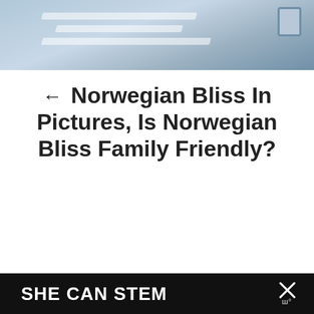[Figure (photo): Top portion of a ship deck or structure with diagonal shadow stripes and a metal bracket/fitting visible in upper right corner. Blue-grey tones.]
← Norwegian Bliss In Pictures, Is Norwegian Bliss Family Friendly?
[Figure (photo): Aerial or elevated view of the Norwegian Bliss cruise ship on open ocean with blue sky. UI overlays include a heart/save button, share button, and a 'What's Next → Planning a Disney...' card with thumbnail.]
[Figure (screenshot): Dark banner bar at bottom reading 'SHE CAN STEM' in bold white text, with an X close button and what appears to be a logo on the right side.]